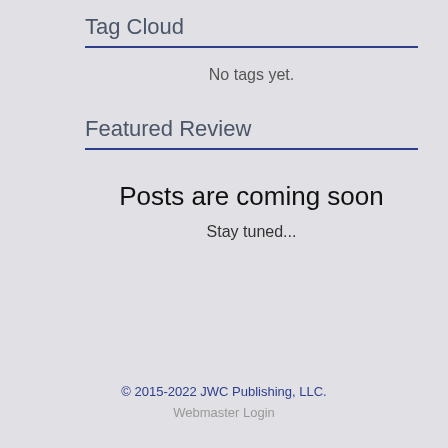Tag Cloud
No tags yet.
Featured Review
Posts are coming soon
Stay tuned...
© 2015-2022 JWC Publishing, LLC. Webmaster Login